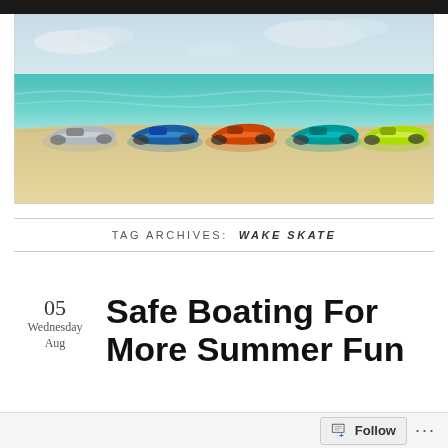[Figure (photo): Five personal watercraft (jet skis) lined up on a sandy beach with clear turquoise ocean water in the background. The jet skis are various colors: silver/grey, blue, orange, teal/blue, and neon yellow-green.]
TAG ARCHIVES: WAKE SKATE
Safe Boating For More Summer Fun